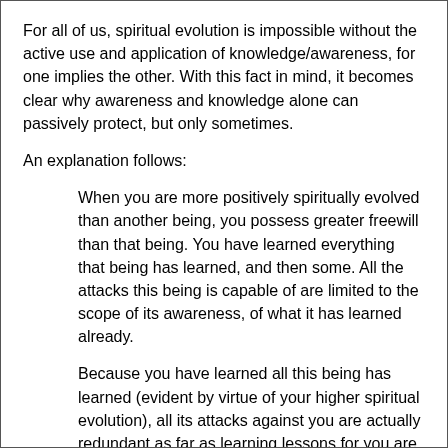For all of us, spiritual evolution is impossible without the active use and application of knowledge/awareness, for one implies the other. With this fact in mind, it becomes clear why awareness and knowledge alone can passively protect, but only sometimes.
An explanation follows:
When you are more positively spiritually evolved than another being, you possess greater freewill than that being. You have learned everything that being has learned, and then some. All the attacks this being is capable of are limited to the scope of its awareness, of what it has learned already.
Because you have learned all this being has learned (evident by virtue of your higher spiritual evolution), all its attacks against you are actually redundant as far as learning lessons for you are concerned, for they cannot teach you anything you have not already learned.
However, they can remind you of things you have forgotten. That you have forgotten such lessons is the only reason such lesson-redundant attacks can happen at all. Remember the lesson by becoming aware of the attack method, and it loses all meaning and justification. You for will...